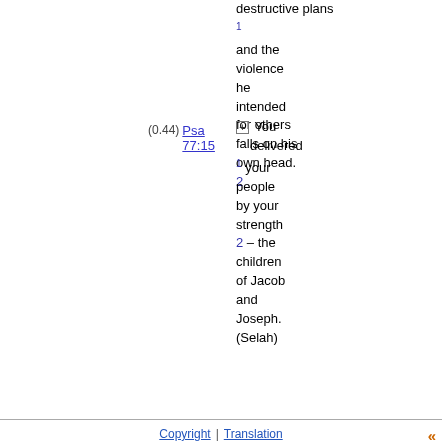destructive plans 1 and the violence he intended for others falls on his own head. 2
(0.44) Psa 77:15
+ You delivered 1 your people by your strength 2 – the children of Jacob and Joseph. (Selah)
Copyright | Translation